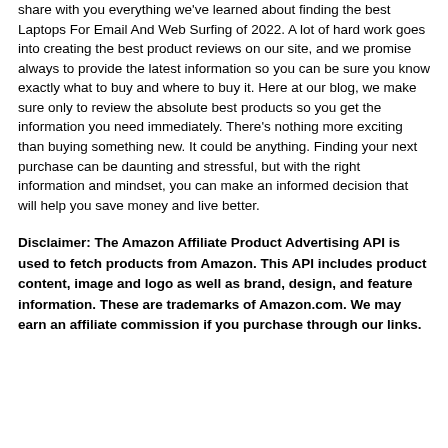share with you everything we've learned about finding the best Laptops For Email And Web Surfing of 2022. A lot of hard work goes into creating the best product reviews on our site, and we promise always to provide the latest information so you can be sure you know exactly what to buy and where to buy it. Here at our blog, we make sure only to review the absolute best products so you get the information you need immediately. There's nothing more exciting than buying something new. It could be anything. Finding your next purchase can be daunting and stressful, but with the right information and mindset, you can make an informed decision that will help you save money and live better.
Disclaimer: The Amazon Affiliate Product Advertising API is used to fetch products from Amazon. This API includes product content, image and logo as well as brand, design, and feature information. These are trademarks of Amazon.com. We may earn an affiliate commission if you purchase through our links.